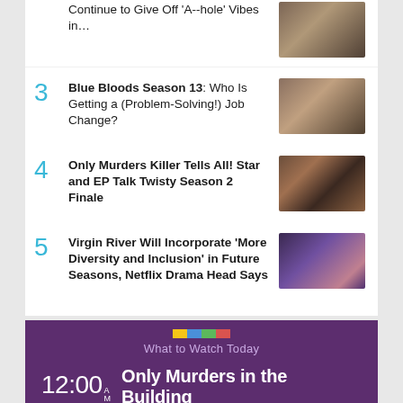Continue to Give Off 'A--hole' Vibes in...
3 Blue Bloods Season 13: Who Is Getting a (Problem-Solving!) Job Change?
4 Only Murders Killer Tells All! Star and EP Talk Twisty Season 2 Finale
5 Virgin River Will Incorporate 'More Diversity and Inclusion' in Future Seasons, Netflix Drama Head Says
What to Watch Today
12:00 AM  Only Murders in the Building